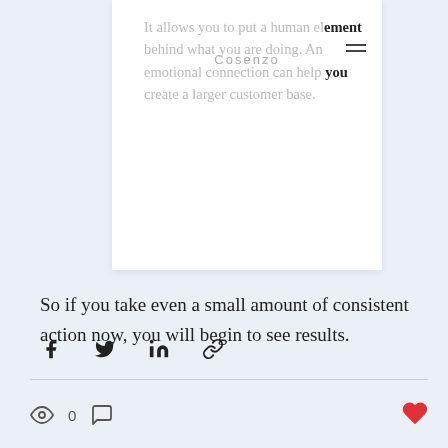It allows you to put a human element behind what you are doing. An emotional connection can help you create a larger customer base.
So if you take even a small amount of consistent action now, you will begin to see results.
[Figure (infographic): Social share icons: Facebook, Twitter, LinkedIn, link/chain icon]
[Figure (infographic): Bottom bar with eye/views icon showing 0, comment icon, and heart/like icon in red]